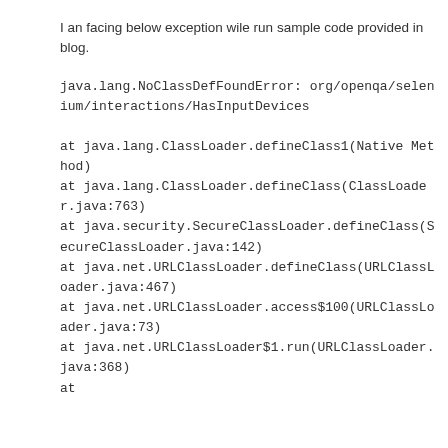I an facing below exception wile run sample code provided in blog.
java.lang.NoClassDefFoundError: org/openqa/selenium/interactions/HasInputDevices

at java.lang.ClassLoader.defineClass1(Native Method)
at java.lang.ClassLoader.defineClass(ClassLoader.java:763)
at java.security.SecureClassLoader.defineClass(SecureClassLoader.java:142)
at java.net.URLClassLoader.defineClass(URLClassLoader.java:467)
at java.net.URLClassLoader.access$100(URLClassLoader.java:73)
at java.net.URLClassLoader$1.run(URLClassLoader.java:368)
at